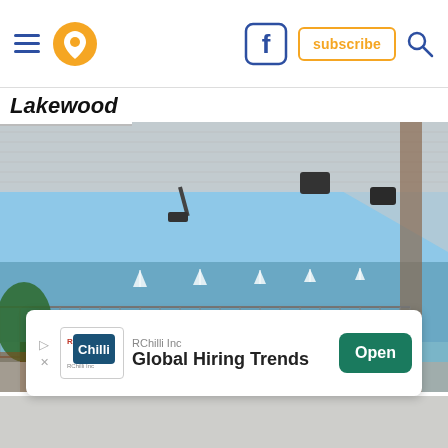Lakewood
[Figure (photo): Outdoor photo taken from under a covered overhang/canopy looking out toward a waterfront. A chain-link fence separates the foreground from the lake. Several sailboats can be seen on the water. The sky is clear and blue. There are security cameras mounted to the ceiling of the overhang and speakers or heaters attached as well. A tree and some bleachers are visible on the left.]
RChilli Inc
Global Hiring Trends
Open